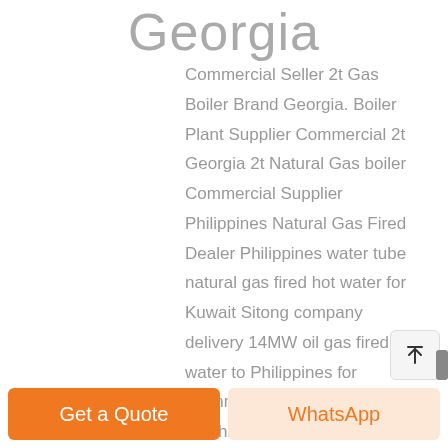Georgia
Commercial Seller 2t Gas Boiler Brand Georgia. Boiler Plant Supplier Commercial 2t Georgia 2t Natural Gas boiler Commercial Supplier Philippines Natural Gas Fired Dealer Philippines water tube natural gas fired hot water for Kuwait Sitong company delivery 14MW oil gas fired hot water to Philippines for swimming pool the is a safe and high efficiency (98%) heating
Get a Quote
WhatsApp